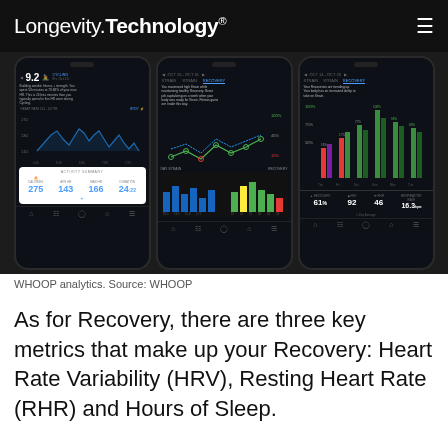Longevity.Technology®
[Figure (screenshot): Three WHOOP app smartphone screenshots showing analytics: (1) heart rate cycling data with activity summary showing Calories 275, Avg HR 143, Max HR 166, Duration 24:22; (2) strain and recovery chart with line graph and colored bar chart; (3) recovery trending bar chart with stats showing Recovery 61%, HRV 92, RHR 46, Respiratory Rate 16.3 bpm]
WHOOP analytics. Source: WHOOP
As for Recovery, there are three key metrics that make up your Recovery: Heart Rate Variability (HRV), Resting Heart Rate (RHR) and Hours of Sleep.